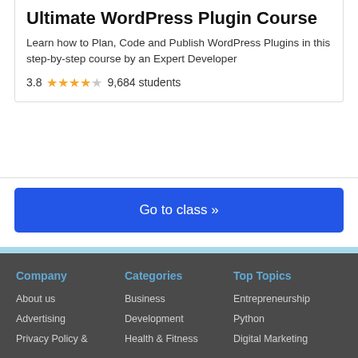[Figure (photo): Partial photo of a person (instructor), cropped at top of card]
Ultimate WordPress Plugin Course
Learn how to Plan, Code and Publish WordPress Plugins in this step-by-step course by an Expert Developer
3.8 ★★★★☆ 9,684 students
Go to class »
Company
About us
Advertising
Privacy Policy &
Categories
Business
Development
Health & Fitness
Top Topics
Entrepreneurship
Python
Digital Marketing